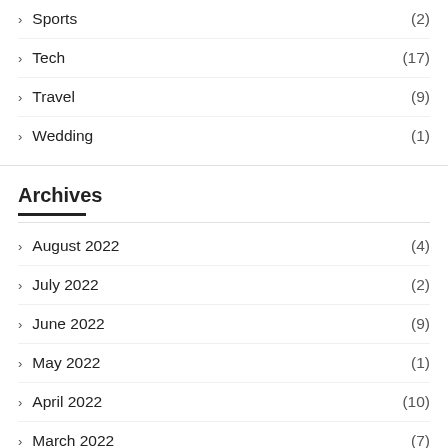Sports (2)
Tech (17)
Travel (9)
Wedding (1)
Archives
August 2022 (4)
July 2022 (2)
June 2022 (9)
May 2022 (1)
April 2022 (10)
March 2022 (7)
February 2022 (3)